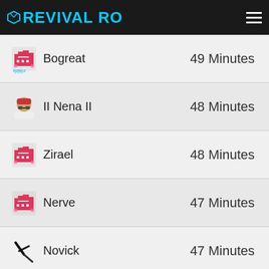RevivalRO
Bogreat — 49 Minutes
II Nena II — 48 Minutes
Zirael — 48 Minutes
Nerve — 47 Minutes
Novick — 47 Minutes
Kerchak — 47 Minutes
coldwiz — 45 Minutes
EverHard — 44 Minutes
Vier — 44 Minutes